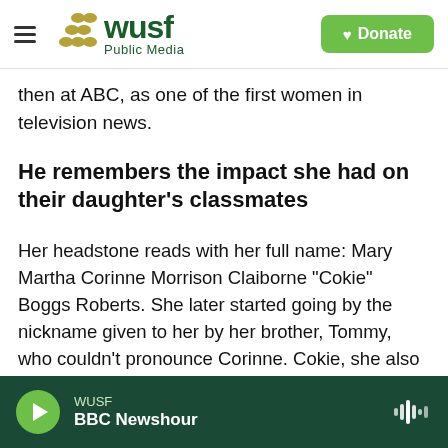[Figure (logo): WUSF Public Media logo with hamburger menu and green Donate button]
then at ABC, as one of the first women in television news.
He remembers the impact she had on their daughter's classmates
Her headstone reads with her full name: Mary Martha Corinne Morrison Claiborne "Cokie" Boggs Roberts. She later started going by the nickname given to her by her brother, Tommy, who couldn't pronounce Corinne. Cokie, she also realized, was much easier to say on air.
WUSF BBC Newshour